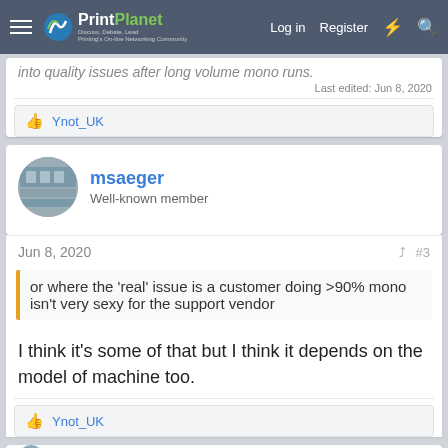PrintPlanet — Log in | Register
into quality issues after long volume mono runs.
Last edited: Jun 8, 2020
👍 Ynot_UK
msaeger
Well-known member
Jun 8, 2020  #3
or where the 'real' issue is a customer doing >90% mono isn't very sexy for the support vendor
I think it's some of that but I think it depends on the model of machine too.
👍 Ynot_UK